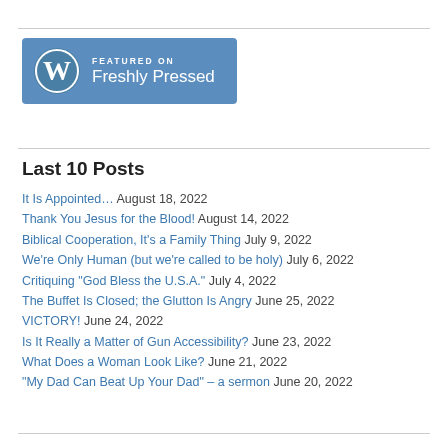[Figure (logo): WordPress 'Featured on Freshly Pressed' badge with blue background, WordPress logo and text]
Last 10 Posts
It Is Appointed… August 18, 2022
Thank You Jesus for the Blood! August 14, 2022
Biblical Cooperation, It's a Family Thing July 9, 2022
We're Only Human (but we're called to be holy) July 6, 2022
Critiquing "God Bless the U.S.A." July 4, 2022
The Buffet Is Closed; the Glutton Is Angry June 25, 2022
VICTORY! June 24, 2022
Is It Really a Matter of Gun Accessibility? June 23, 2022
What Does a Woman Look Like? June 21, 2022
"My Dad Can Beat Up Your Dad" – a sermon June 20, 2022